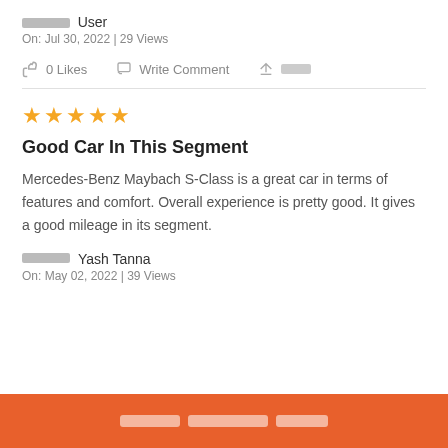██████ User
On: Jul 30, 2022 | 29 Views
0 Likes   Write Comment   ████
[Figure (other): Star rating: 4 out of 5 orange stars]
Good Car In This Segment
Mercedes-Benz Maybach S-Class is a great car in terms of features and comfort. Overall experience is pretty good. It gives a good mileage in its segment.
██████ Yash Tanna
On: May 02, 2022 | 39 Views
████████ ███████████ ██████